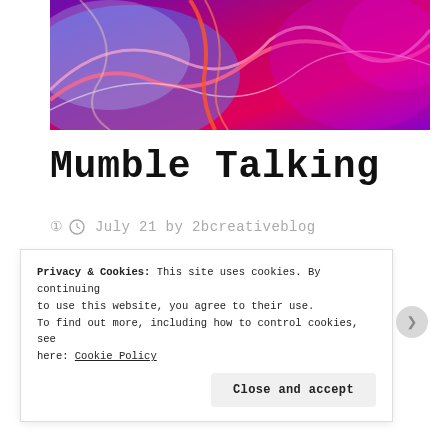[Figure (illustration): Abstract colorful background image with swirling blue, red, pink, and purple light streaks on dark background]
Mumble Talking
July 21 by 2bcreativeblog
The short story. See if this is big
Privacy & Cookies: This site uses cookies. By continuing to use this website, you agree to their use. To find out more, including how to control cookies, see here: Cookie Policy
Close and accept